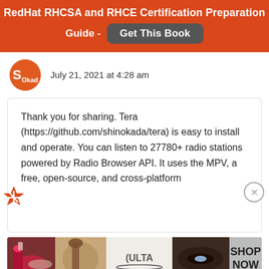RedHat RHCSA and RHCE Certification Preparation Guide - Get This Book
July 21, 2021 at 4:28 am
Thank you for sharing. Tera (https://github.com/shinokada/tera) is easy to install and operate. You can listen to 27780+ radio stations powered by Radio Browser API. It uses the MPV, a free, open-source, and cross-platform
[Figure (other): Advertisement banner showing Ulta Beauty cosmetics products with 'SHOP NOW' button]